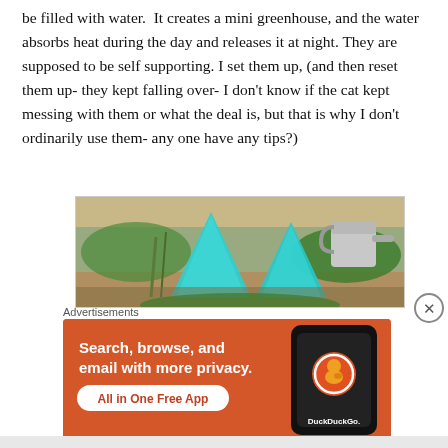be filled with water. It creates a mini greenhouse, and the water absorbs heat during the day and releases it at night. They are supposed to be self supporting. I set them up, (and then reset them up- they kept falling over- I don't know if the cat kept messing with them or what the deal is, but that is why I don't ordinarily use them- any one have any tips?)
[Figure (photo): Garden photo showing two teal/turquoise cone-shaped Wall-O-Water teepees in a garden bed, with green plants and a silver watering can visible in the background.]
Advertisements
[Figure (screenshot): DuckDuckGo advertisement banner with orange background. Text reads 'Search, browse, and email with more privacy. All in One Free App' with DuckDuckGo logo and phone graphic.]